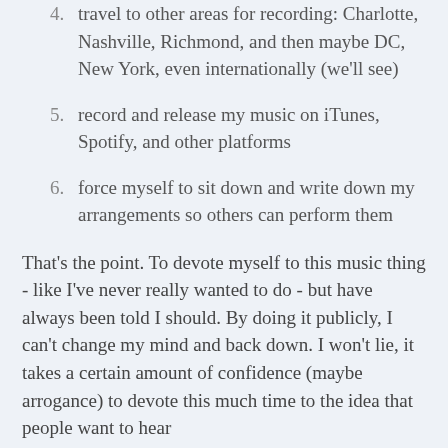4. travel to other areas for recording: Charlotte, Nashville, Richmond, and then maybe DC, New York, even internationally (we'll see)
5. record and release my music on iTunes, Spotify, and other platforms
6. force myself to sit down and write down my arrangements so others can perform them
That's the point. To devote myself to this music thing - like I've never really wanted to do - but have always been told I should. By doing it publicly, I can't change my mind and back down. I won't lie, it takes a certain amount of confidence (maybe arrogance) to devote this much time to the idea that people want to hear